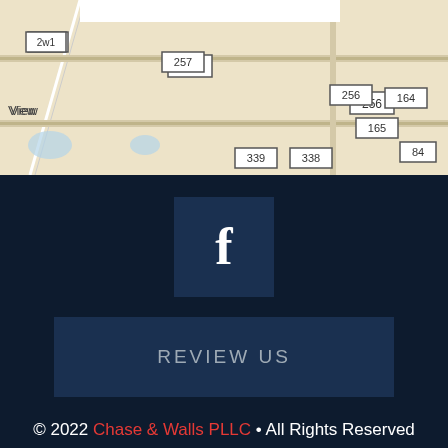[Figure (map): Road map showing rural area with highway route numbers 257, 256, 339, 338, 164, 165, 84, and label 'View' on the left side.]
[Figure (logo): Facebook icon button — dark navy square with white 'f' letter centered.]
REVIEW US
© 2022 Chase & Walls PLLC • All Rights Reserved
Disclaimer | Site Map | Privacy Policy | Business Development Solutions by FindLaw, part of Thomson Reuters